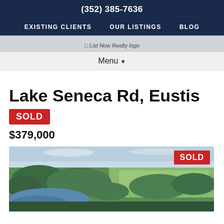(352) 385-7636
EXISTING CLIENTS  OUR LISTINGS  BLOG
[Figure (logo): List Now Realty logo]
Menu ▾
Lake Seneca Rd, Eustis
SOLD
$379,000
[Figure (photo): Aerial photo of Lake Seneca Rd, Eustis property showing lake, trees, and surrounding landscape. SOLD badge overlaid in top right corner.]